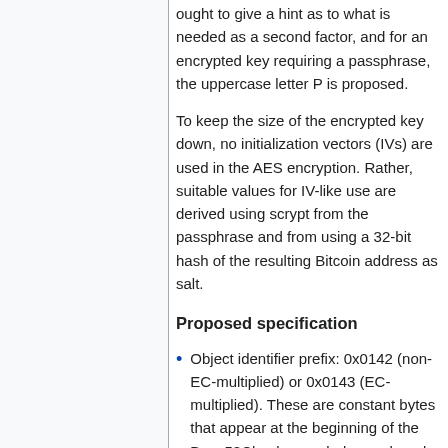ought to give a hint as to what is needed as a second factor, and for an encrypted key requiring a passphrase, the uppercase letter P is proposed.
To keep the size of the encrypted key down, no initialization vectors (IVs) are used in the AES encryption. Rather, suitable values for IV-like use are derived using scrypt from the passphrase and from using a 32-bit hash of the resulting Bitcoin address as salt.
Proposed specification
Object identifier prefix: 0x0142 (non-EC-multiplied) or 0x0143 (EC-multiplied). These are constant bytes that appear at the beginning of the Base58Check-encoded record, and their presence causes the resulting string to have a predictable prefix.